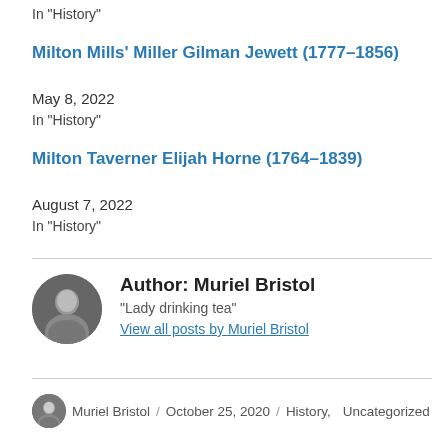In "History"
Milton Mills' Miller Gilman Jewett (1777–1856)
May 8, 2022
In "History"
Milton Taverner Elijah Horne (1764–1839)
August 7, 2022
In "History"
Author: Muriel Bristol
"Lady drinking tea"
View all posts by Muriel Bristol
Muriel Bristol / October 25, 2020 / History, Uncategorized